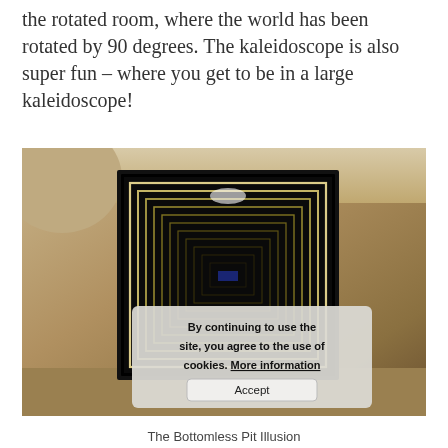the rotated room, where the world has been rotated by 90 degrees. The kaleidoscope is also super fun – where you get to be in a large kaleidoscope!
[Figure (photo): Photo of a kaleidoscope/infinity mirror installation showing a glowing rectangular frame with repeating reflections creating a tunnel effect. A semi-transparent cookie consent dialog overlays the lower portion of the image with bold text and an Accept button.]
The Bottomless Pit Illusion